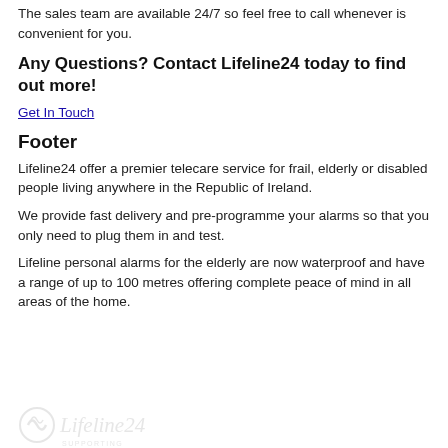The sales team are available 24/7 so feel free to call whenever is convenient for you.
Any Questions? Contact Lifeline24 today to find out more!
Get In Touch
Footer
Lifeline24 offer a premier telecare service for frail, elderly or disabled people living anywhere in the Republic of Ireland.
We provide fast delivery and pre-programme your alarms so that you only need to plug them in and test.
Lifeline personal alarms for the elderly are now waterproof and have a range of up to 100 metres offering complete peace of mind in all areas of the home.
[Figure (logo): Lifeline24 logo with swirl icon and tagline SUPPORTING YOU AT HOME]